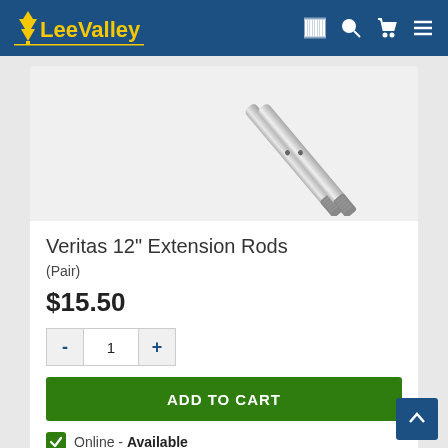Lee Valley
[Figure (photo): Two chrome/steel extension rods diagonal on a light gray background]
Veritas 12" Extension Rods
(Pair)
$15.50
1
ADD TO CART
Online - Available
Check availability at all stores